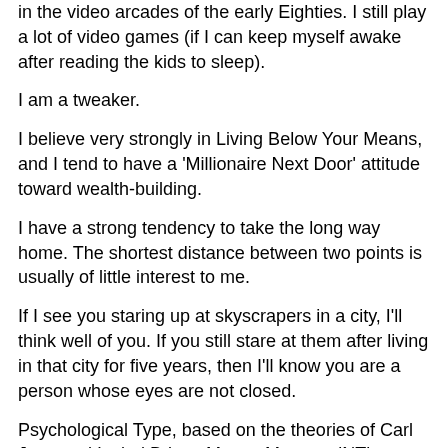in the video arcades of the early Eighties. I still play a lot of video games (if I can keep myself awake after reading the kids to sleep).
I am a tweaker.
I believe very strongly in Living Below Your Means, and I tend to have a 'Millionaire Next Door' attitude toward wealth-building.
I have a strong tendency to take the long way home. The shortest distance between two points is usually of little interest to me.
If I see you staring up at skyscrapers in a city, I'll think well of you. If you still stare at them after living in that city for five years, then I'll know you are a person whose eyes are not closed.
Psychological Type, based on the theories of Carl Jung and Isabel Briggs Myers; My type: iNTj; Rose's Type: eNFp. Max & Esmé...?